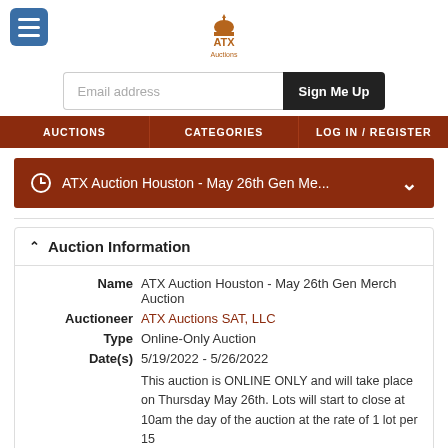[Figure (logo): ATX Auctions logo at top center with hamburger menu button on left]
Email address
Sign Me Up
AUCTIONS   CATEGORIES   LOG IN / REGISTER
ATX Auction Houston - May 26th Gen Me...
Auction Information
Name ATX Auction Houston - May 26th Gen Merch Auction
Auctioneer ATX Auctions SAT, LLC
Type Online-Only Auction
Date(s) 5/19/2022 - 5/26/2022
This auction is ONLINE ONLY and will take place on Thursday May 26th. Lots will start to close at 10am the day of the auction at the rate of 1 lot per 15